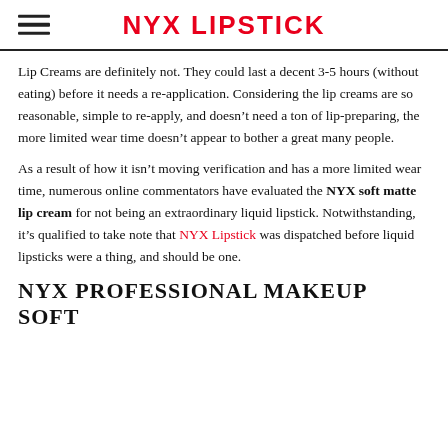NYX LIPSTICK
Lip Creams are definitely not. They could last a decent 3-5 hours (without eating) before it needs a re-application. Considering the lip creams are so reasonable, simple to re-apply, and doesn’t need a ton of lip-preparing, the more limited wear time doesn’t appear to bother a great many people.
As a result of how it isn’t moving verification and has a more limited wear time, numerous online commentators have evaluated the NYX soft matte lip cream for not being an extraordinary liquid lipstick. Notwithstanding, it’s qualified to take note that NYX Lipstick was dispatched before liquid lipsticks were a thing, and should be one.
NYX PROFESSIONAL MAKEUP SOFT